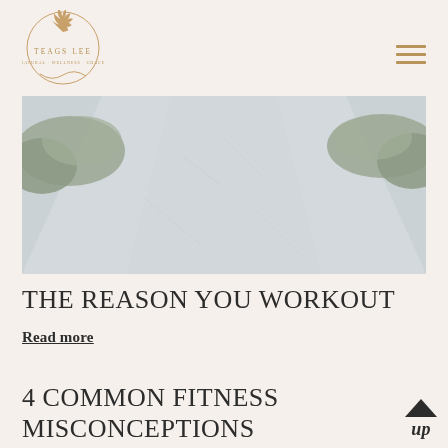TEAGS LEE
[Figure (photo): Aerial view of a light grey path or road with shrubs/bushes on the sides and light frost or sand texture on the surface]
THE REASON YOU WORKOUT
Read more
4 COMMON FITNESS MISCONCEPTIONS